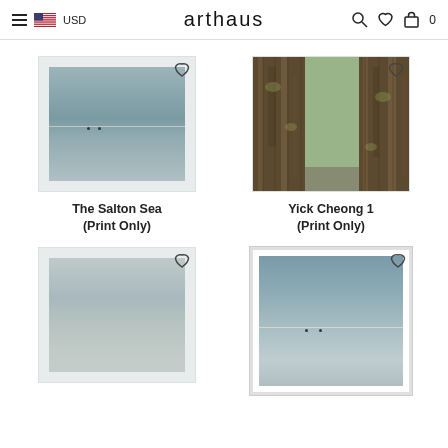arthaus | USD | search, wishlist, cart (0)
[Figure (photo): Photograph of a calm sea with horizon line and two small boats, polaroid-style white border frame. Product: The Salton Sea (Print Only)]
The Salton Sea
(Print Only)
[Figure (photo): Photograph looking up between two large tree trunks covered in bark and lichen. Product: Yick Cheong 1 (Print Only)]
Yick Cheong 1
(Print Only)
[Figure (photo): Photograph of a hazy sea or large body of water with soft mist, polaroid-style border.]
[Figure (photo): Photograph of a calm sea with horizon line and two small boats, framed with white mat border.]